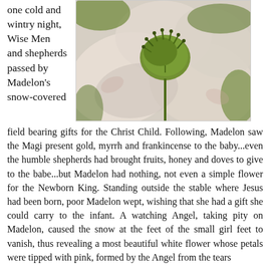one cold and wintry night, Wise Men and shepherds passed by Madelon's snow-covered
[Figure (photo): Close-up photo of a hellebore flower with pale pink/white petals and green center stamens, with green foliage in the background.]
field bearing gifts for the Christ Child. Following, Madelon saw the Magi present gold, myrrh and frankincense to the baby...even the humble shepherds had brought fruits, honey and doves to give to the babe...but Madelon had nothing, not even a simple flower for the Newborn King. Standing outside the stable where Jesus had been born, poor Madelon wept, wishing that she had a gift she could carry to the infant. A watching Angel, taking pity on Madelon, caused the snow at the feet of the small girl feet to vanish, thus revealing a most beautiful white flower whose petals were tipped with pink, formed by the Angel from the tears